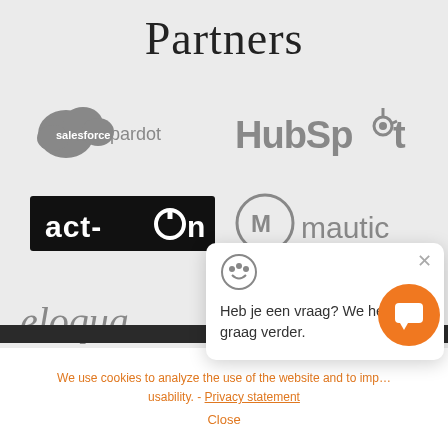Partners
[Figure (logo): Salesforce Pardot logo (grayscale cloud icon with 'salesforce pardot' text)]
[Figure (logo): HubSpot logo (grayscale)]
[Figure (logo): Act-On logo (black rectangle with white text 'act-on')]
[Figure (logo): Mautic logo (grayscale circle M icon with 'mautic' text)]
[Figure (logo): Eloqua logo (grayscale text)]
[Figure (logo): Partial logos (Autopilot and Statcounter-like icons, partially obscured)]
[Figure (screenshot): Chat popup overlay: icon, close X, text 'Heb je een vraag? We helpen je graag verder.']
We use cookies to analyze the use of the website and to imp... usability. - Privacy statement
Close